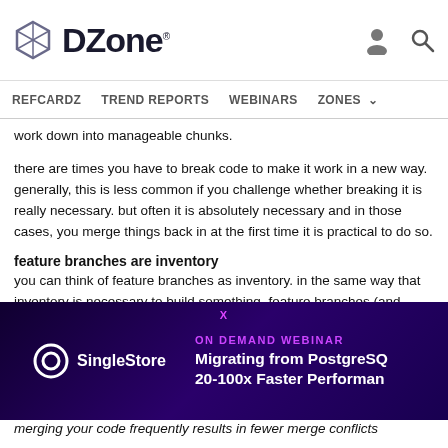DZone. [navigation: REFCARDZ, TREND REPORTS, WEBINARS, ZONES]
work down into manageable chunks.
there are times you have to break code to make it work in a new way. generally, this is less common if you challenge whether breaking it is really necessary. but often it is absolutely necessary and in those cases, you merge things back in at the first time it is practical to do so.
feature branches are inventory
you can think of feature branches as inventory. in the same way that inventory is necessary to build something, feature branches (and sometimes even long term feature branches) can sometimes be necessary. the longer they run, however, the more cost your company incurs without any benefit being brought into the actual product.
[Figure (screenshot): Advertisement banner: SingleStore - ON DEMAND WEBINAR - Migrating from PostgreSQL 20-100x Faster Performance]
merging your code frequently results in fewer merge conflicts